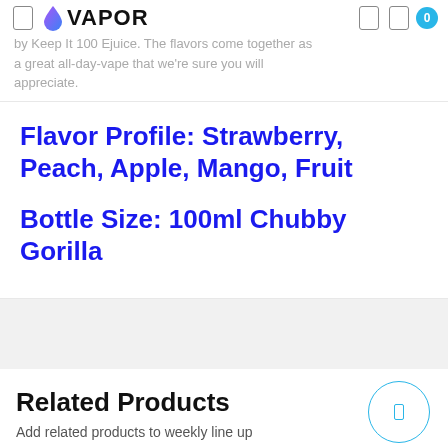VAPOR
by Keep It 100 Ejuice. The flavors come together as a great all-day-vape that we're sure you will appreciate.
Flavor Profile: Strawberry, Peach, Apple, Mango, Fruit
Bottle Size: 100ml Chubby Gorilla
Related Products
Add related products to weekly line up